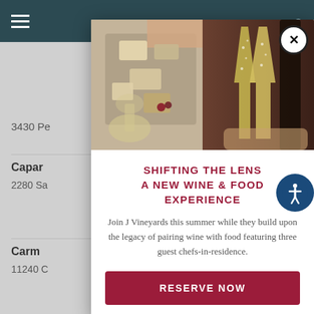[Figure (screenshot): Website screenshot showing a modal popup for 'Shifting the Lens - A New Wine & Food Experience' by J Vineyards, overlaid on a restaurant listing page. The modal contains two food/wine photos at the top, a title in dark red, descriptive text, and a 'Reserve Now' button.]
SHIFTING THE LENS
A NEW WINE & FOOD EXPERIENCE
Join J Vineyards this summer while they build upon the legacy of pairing wine with food featuring three guest chefs-in-residence.
RESERVE NOW